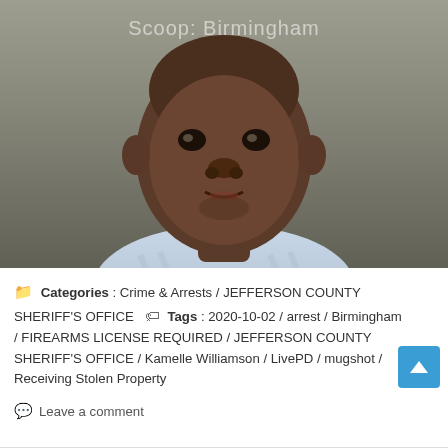[Figure (photo): Mugshot/booking photo of a young man wearing a light blue striped jail uniform against a gray background. Watermark text 'Scoop: Birmingham' visible in upper center of image.]
Categories : Crime & Arrests / JEFFERSON COUNTY SHERIFF'S OFFICE   Tags : 2020-10-02 / arrest / Birmingham / FIREARMS LICENSE REQUIRED / JEFFERSON COUNTY SHERIFF'S OFFICE / Kamelle Williamson / LivePD / mugshot / Receiving Stolen Property
Leave a comment